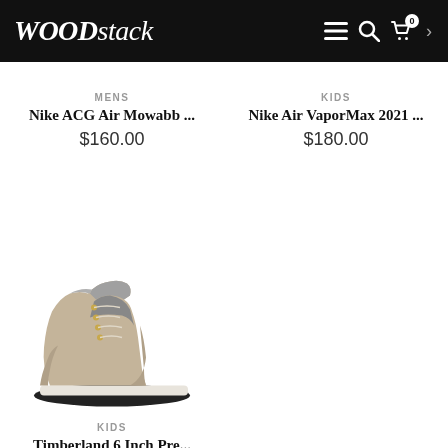WOODstack
MENS
Nike ACG Air Mowabb ...
$160.00
KIDS
Nike Air VaporMax 2021 ...
$180.00
[Figure (photo): A tan/beige Timberland 6 inch children's boot with gray accents, lace-up with gold eyelets, shown in profile on a white background.]
KIDS
Timberland 6 Inch Pre...
$90.00